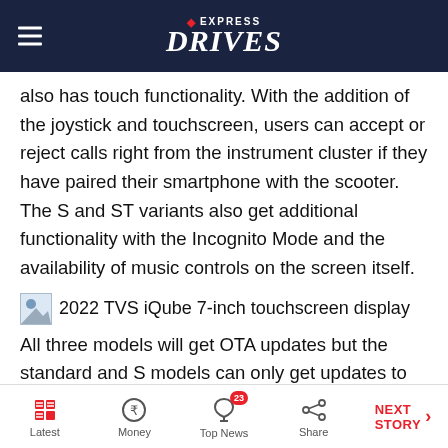EXPRESS DRIVES
also has touch functionality. With the addition of the joystick and touchscreen, users can accept or reject calls right from the instrument cluster if they have paired their smartphone with the scooter. The S and ST variants also get additional functionality with the Incognito Mode and the availability of music controls on the screen itself.
[Figure (photo): 2022 TVS iQube 7-inch touchscreen display image placeholder]
2022 TVS iQube 7-inch touchscreen display
All three models will get OTA updates but the standard and S models can only get updates to the telematics
Latest | Money | Top News (23) | Share | NEXT STORY